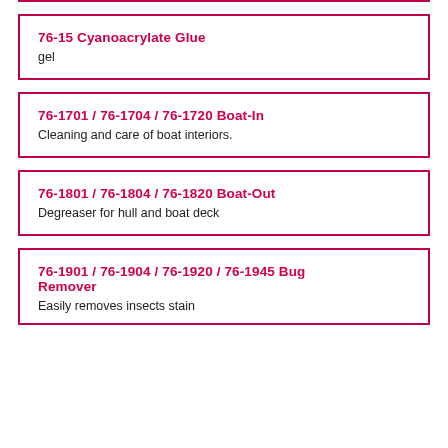76-15 Cyanoacrylate Glue
gel
76-1701 / 76-1704 / 76-1720 Boat-In
Cleaning and care of boat interiors.
76-1801 / 76-1804 / 76-1820 Boat-Out
Degreaser for hull and boat deck
76-1901 / 76-1904 / 76-1920 / 76-1945 Bug Remover
Easily removes insects stain